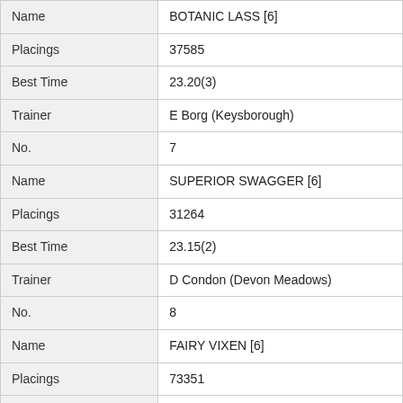| Field | Value |
| --- | --- |
| Name | BOTANIC LASS [6] |
| Placings | 37585 |
| Best Time | 23.20(3) |
| Trainer | E Borg (Keysborough) |
| No. | 7 |
| Name | SUPERIOR SWAGGER [6] |
| Placings | 31264 |
| Best Time | 23.15(2) |
| Trainer | D Condon (Devon Meadows) |
| No. | 8 |
| Name | FAIRY VIXEN [6] |
| Placings | 73351 |
| Best Time | FSH |
| Trainer | M Mallia-magri (Avalon) |
| No. | 9 |
| Name | ROSIE ALLEN (NSW)[6]Res. |
| Placings | 37234 |
| Best Time | 23.84(1) |